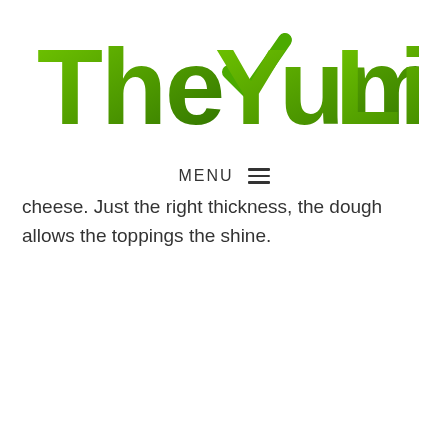[Figure (logo): The Yum List logo — bold green gradient text reading 'The Yum List' with a green checkmark incorporated into the letter Y]
MENU ☰
cheese. Just the right thickness, the dough allows the toppings the shine.